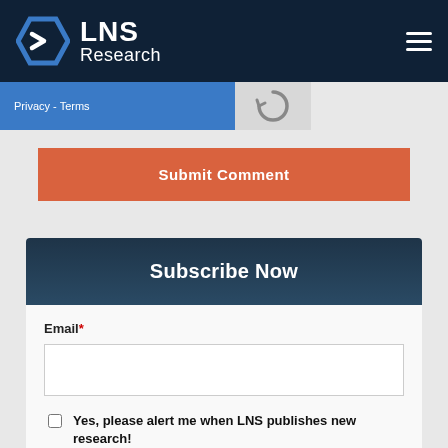LNS Research
Privacy - Terms
Submit Comment
Subscribe Now
Email*
Yes, please alert me when LNS publishes new research!